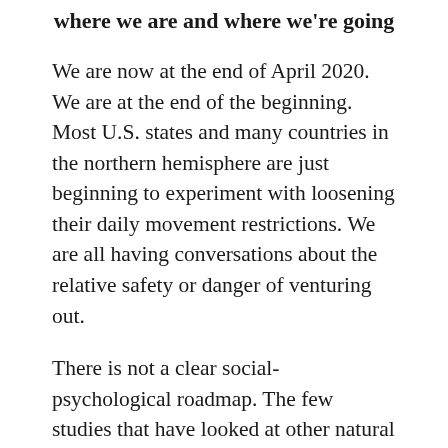where we are and where we're going
We are now at the end of April 2020. We are at the end of the beginning. Most U.S. states and many countries in the northern hemisphere are just beginning to experiment with loosening their daily movement restrictions. We are all having conversations about the relative safety or danger of venturing out.
There is not a clear social-psychological roadmap. The few studies that have looked at other natural and man-made disasters hint that the next phase will be bumpy. We should expect elevations in hostility and back-biting. People will continue to feel anxious. There may well be significant diversions in the ways young